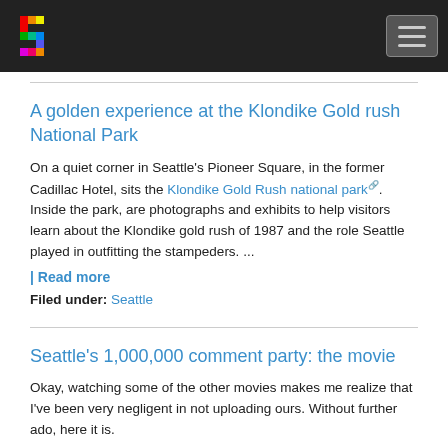Navigation header with logo and hamburger menu
A golden experience at the Klondike Gold rush National Park
On a quiet corner in Seattle's Pioneer Square, in the former Cadillac Hotel, sits the Klondike Gold Rush national park. Inside the park, are photographs and exhibits to help visitors learn about the Klondike gold rush of 1987 and the role Seattle played in outfitting the stampeders. ...
| Read more
Filed under: Seattle
Seattle's 1,000,000 comment party: the movie
Okay, watching some of the other movies makes me realize that I've been very negligent in not uploading ours. Without further ado, here it is.